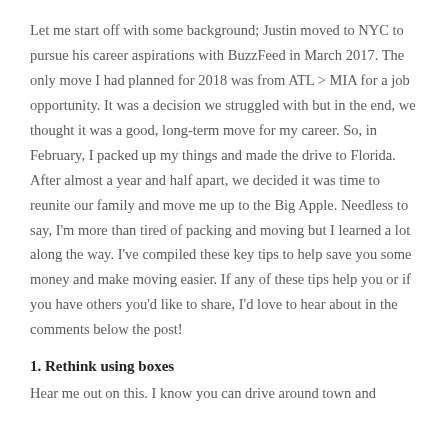Let me start off with some background; Justin moved to NYC to pursue his career aspirations with BuzzFeed in March 2017. The only move I had planned for 2018 was from ATL > MIA for a job opportunity. It was a decision we struggled with but in the end, we thought it was a good, long-term move for my career. So, in February, I packed up my things and made the drive to Florida. After almost a year and half apart, we decided it was time to reunite our family and move me up to the Big Apple. Needless to say, I'm more than tired of packing and moving but I learned a lot along the way. I've compiled these key tips to help save you some money and make moving easier. If any of these tips help you or if you have others you'd like to share, I'd love to hear about in the comments below the post!
1. Rethink using boxes
Hear me out on this. I know you can drive around town and